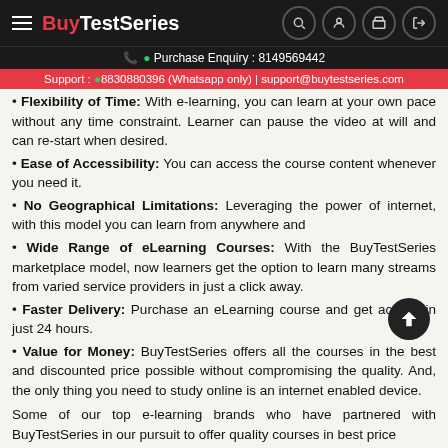BuyTestSeries — Purchase Enquiry: 8149569442 | Support: 8830880396 (Whatsapp only) | support@buytestseries.com
Flexibility of Time: With e-learning, you can learn at your own pace without any time constraint. Learner can pause the video at will and can re-start when desired.
Ease of Accessibility: You can access the course content whenever you need it.
No Geographical Limitations: Leveraging the power of internet, with this model you can learn from anywhere and
Wide Range of eLearning Courses: With the BuyTestSeries marketplace model, now learners get the option to learn many streams from varied service providers in just a click away.
Faster Delivery: Purchase an eLearning course and get access in just 24 hours.
Value for Money: BuyTestSeries offers all the courses in the best and discounted price possible without compromising the quality. And, the only thing you need to study online is an internet enabled device.
Some of our top e-learning brands who have partnered with BuyTestSeries in our pursuit to offer quality courses in best price